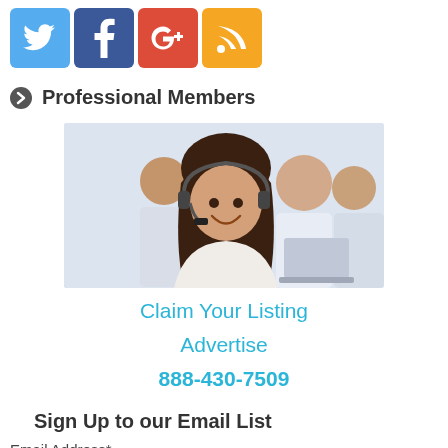[Figure (other): Social media icon buttons: Twitter (blue bird), Facebook (blue f), Google+ (red g+), RSS feed (orange signal icon)]
Professional Members
[Figure (photo): Photo of customer service representatives at work, featuring a woman in the foreground wearing a headset and smiling, with colleagues in the background]
Claim Your Listing
Advertise
888-430-7509
Sign Up to our Email List
Email Address*